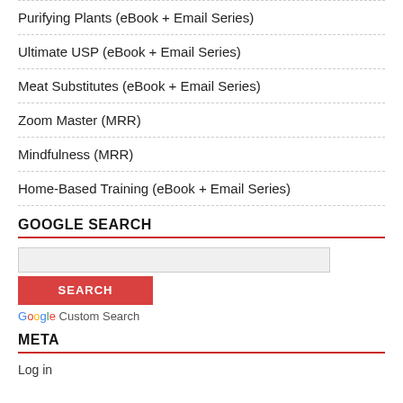Purifying Plants (eBook + Email Series)
Ultimate USP (eBook + Email Series)
Meat Substitutes (eBook + Email Series)
Zoom Master (MRR)
Mindfulness (MRR)
Home-Based Training (eBook + Email Series)
GOOGLE SEARCH
[Figure (screenshot): Google Custom Search widget with a search input field, a red SEARCH button, and Google Custom Search label with Google logo]
META
Log in